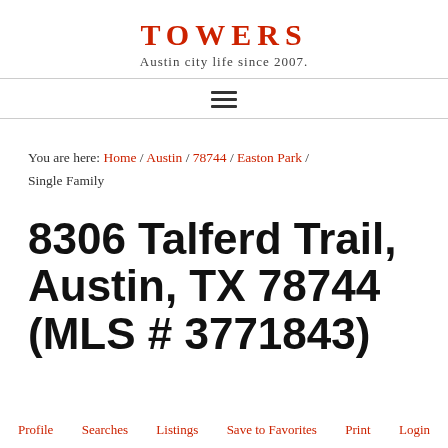TOWERS
Austin city life since 2007.
You are here: Home / Austin / 78744 / Easton Park / Single Family
8306 Talferd Trail, Austin, TX 78744 (MLS # 3771843)
Profile  Searches  Listings  Save to Favorites  Print  Login